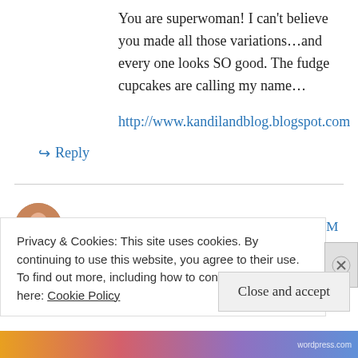You are superwoman! I can't believe you made all those variations…and every one looks SO good. The fudge cupcakes are calling my name…
http://www.kandilandblog.blogspot.com
↳ Reply
Cheryl Barker on October 8, 2010 at 11:25 PM
Privacy & Cookies: This site uses cookies. By continuing to use this website, you agree to their use.
To find out more, including how to control cookies, see here: Cookie Policy
Close and accept